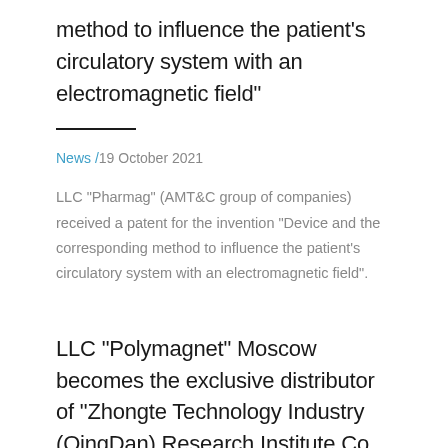method to influence the patient's circulatory system with an electromagnetic field"
News / 19 October 2021
LLC "Pharmag" (AMT&C group of companies) received a patent for the invention "Device and the corresponding method to influence the patient's circulatory system with an electromagnetic field".
LLC "Polymagnet" Moscow becomes the exclusive distributor of "Zhongte Technology Industry (QingDan) Research Institute Co., Ltd." company